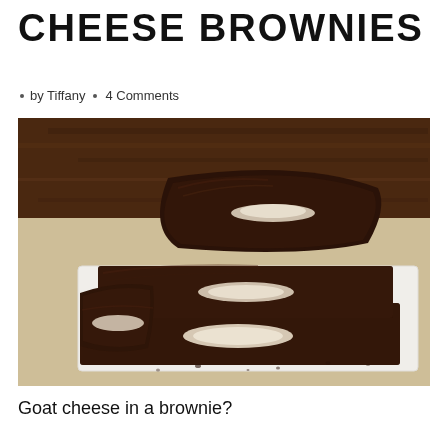CHEESE BROWNIES
□ by Tiffany   □ 4 Comments
[Figure (photo): Stack of chocolate brownies with goat cheese filling on a white surface with a wooden background]
Goat cheese in a brownie?